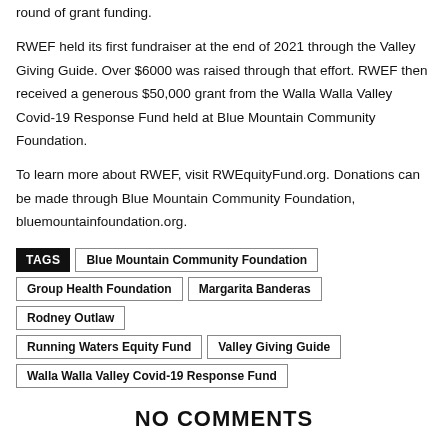round of grant funding.
RWEF held its first fundraiser at the end of 2021 through the Valley Giving Guide. Over $6000 was raised through that effort. RWEF then received a generous $50,000 grant from the Walla Walla Valley Covid-19 Response Fund held at Blue Mountain Community Foundation.
To learn more about RWEF, visit RWEquityFund.org. Donations can be made through Blue Mountain Community Foundation, bluemountainfoundation.org.
TAGS  Blue Mountain Community Foundation  Group Health Foundation  Margarita Banderas  Rodney Outlaw  Running Waters Equity Fund  Valley Giving Guide  Walla Walla Valley Covid-19 Response Fund
NO COMMENTS